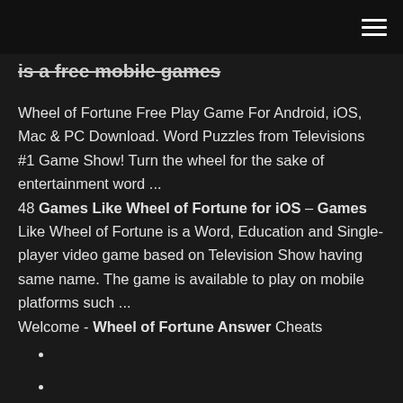[hamburger menu icon]
is a free mobile games
Wheel of Fortune Free Play Game For Android, iOS, Mac & PC Download. Word Puzzles from Televisions #1 Game Show! Turn the wheel for the sake of entertainment word ... 48 Games Like Wheel of Fortune for iOS – Games Like Wheel of Fortune is a Word, Education and Single-player video game based on Television Show having same name. The game is available to play on mobile platforms such ... Welcome - Wheel of Fortune Answer Cheats